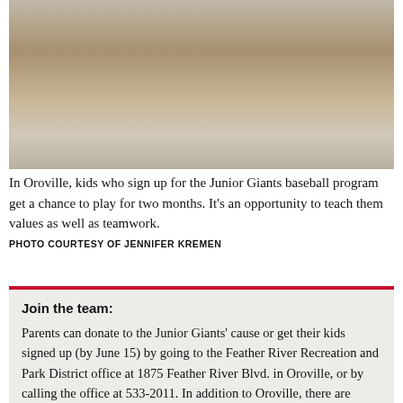[Figure (photo): Photo of children sitting on a bench outdoors, wearing sports uniforms including blue shirts and red socks; a child in an orange helmet is visible on the right]
In Oroville, kids who sign up for the Junior Giants baseball program get a chance to play for two months. It's an opportunity to teach them values as well as teamwork.
PHOTO COURTESY OF JENNIFER KREMEN
Join the team:
Parents can donate to the Junior Giants' cause or get their kids signed up (by June 15) by going to the Feather River Recreation and Park District office at 1875 Feather River Blvd. in Oroville, or by calling the office at 533-2011. In addition to Oroville, there are nearby leagues in Hamilton City (893-8836), Corning (824-7000) and Yuba/Sutter (682-